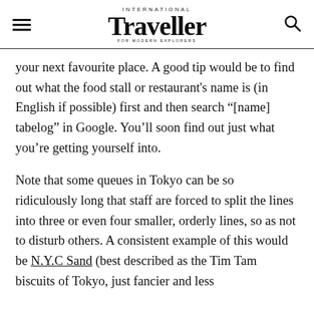INTERNATIONAL Traveller FOR MODERN EXPLORERS
your next favourite place. A good tip would be to find out what the food stall or restaurant's name is (in English if possible) first and then search "[name] tabelog" in Google. You'll soon find out just what you're getting yourself into.
Note that some queues in Tokyo can be so ridiculously long that staff are forced to split the lines into three or even four smaller, orderly lines, so as not to disturb others. A consistent example of this would be N.Y.C Sand (best described as the Tim Tam biscuits of Tokyo, just fancier and less